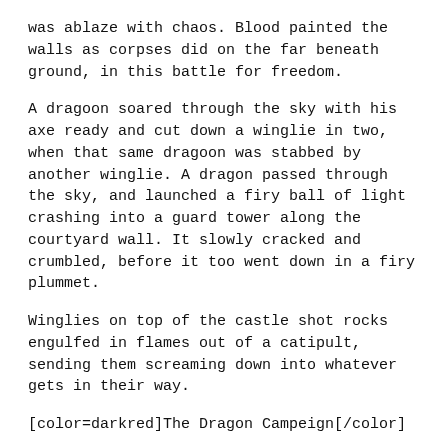was ablaze with chaos. Blood painted the walls as corpses did on the far beneath ground, in this battle for freedom.
A dragoon soared through the sky with his axe ready and cut down a winglie in two, when that same dragoon was stabbed by another winglie. A dragon passed through the sky, and launched a firy ball of light crashing into a guard tower along the courtyard wall. It slowly cracked and crumbled, before it too went down in a firy plummet.
Winglies on top of the castle shot rocks engulfed in flames out of a catipult, sending them screaming down into whatever gets in their way.
[color=darkred]The Dragon Campeign[/color]
A dragoon in green armor ran swiftly along the courtwall, hacking through archers and catipulters with his sword. "Ryden!" One of the dragoons cried, soaring along side of him. "We've occupied towers 3, 5, 7, and 9! I want you to guard tower three!" Ryden nodded and flipped off the side of the bridge, his mighty wings expanding. He took flight and soared into a position in front of a